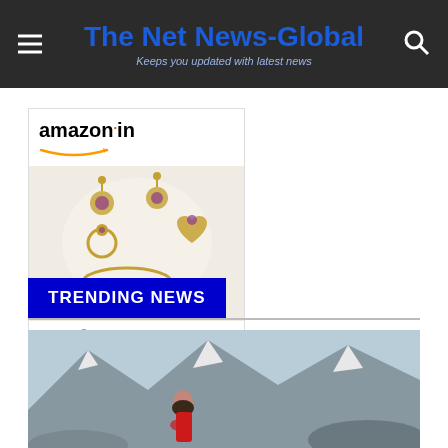The Net News-Global — Keeps you updated with latest news
[Figure (screenshot): Amazon.in product widget showing PALAY 4 Pack Unicorn jewelry set with price INR 489.00 and Shop now button]
TRENDING NEWS
[Figure (photo): Woman in red sari standing in front of snowy mountain landscape]